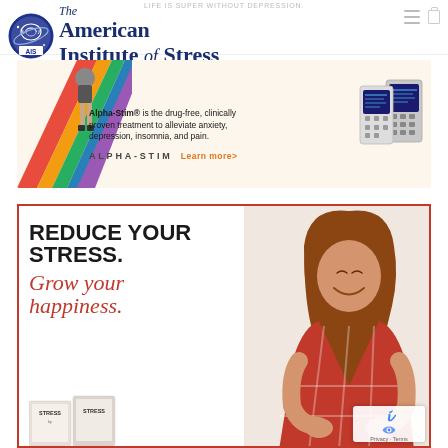LIFE IS SUPER WITHOUT DEPRESSION.
[Figure (logo): The American Institute of Stress (AIS) logo — circular blue badge with brain graphic, and text 'The American Institute of Stress' in navy serif font]
[Figure (photo): Alpha-Stim advertisement banner showing colorful rainbow legs/figure at top, two electronic medical devices on right, text: 'Alpha-Stim® is the drug-free, clinically proven treatment to alleviate anxiety, depression, insomnia, and pain.' Brand name ALPHA-STIM with 'Learn more>' link in orange]
[Figure (photo): Reduce Your Stress advertisement with red border. Left side: bold black text 'REDUCE YOUR STRESS.' and red italic script 'Grow your happiness.' with book covers at bottom. Right side: woman with long brown hair in red plaid shirt hugging herself and smiling.]